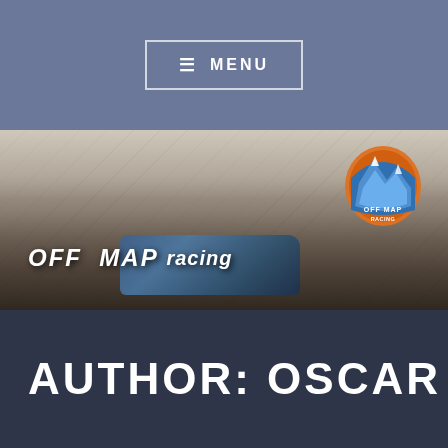≡ MENU
[Figure (photo): Off Map Racing banner photo showing a race vehicle (UTV/buggy) on a desert terrain with mountains in background. The logo 'OFF MAP RACING' is displayed in white text with an orange and blue mountain badge/emblem.]
AUTHOR: OSCAR
[Figure (photo): Partial view of what appears to be racing/mechanical equipment, predominantly blue colored, visible at bottom of page.]